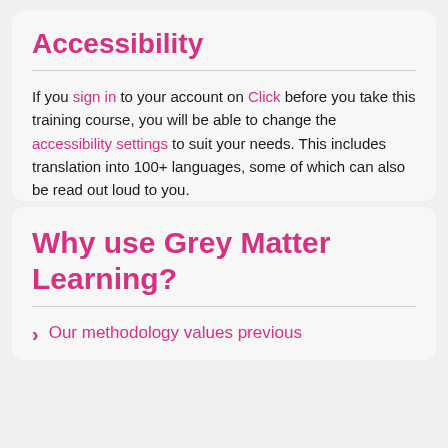Accessibility
If you sign in to your account on Click before you take this training course, you will be able to change the accessibility settings to suit your needs. This includes translation into 100+ languages, some of which can also be read out loud to you.
Why use Grey Matter Learning?
Our methodology values previous